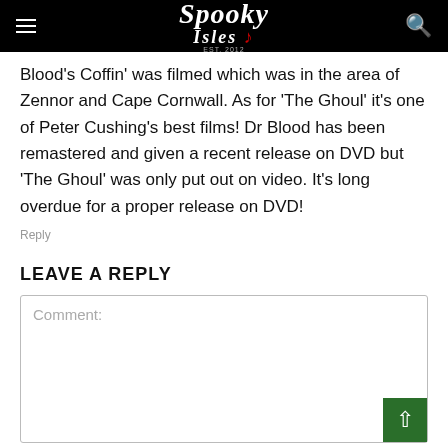Spooky Isles
Blood's Coffin' was filmed which was in the area of Zennor and Cape Cornwall. As for 'The Ghoul' it's one of Peter Cushing's best films! Dr Blood has been remastered and given a recent release on DVD but 'The Ghoul' was only put out on video. It's long overdue for a proper release on DVD!
Reply
LEAVE A REPLY
Comment: